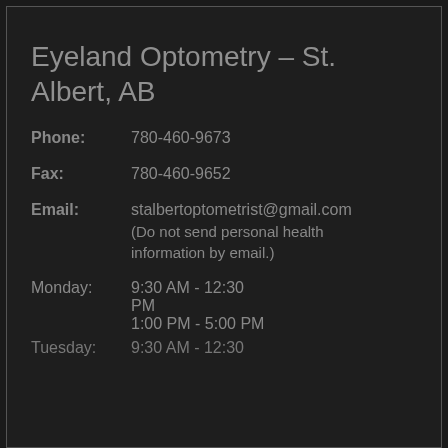Eyeland Optometry – St. Albert, AB
Phone: 780-460-9673
Fax: 780-460-9652
Email: stalbertoptometrist@gmail.com (Do not send personal health information by email.)
Monday: 9:30 AM - 12:30 PM
1:00 PM - 5:00 PM
Tuesday: 9:30 AM - 12:30